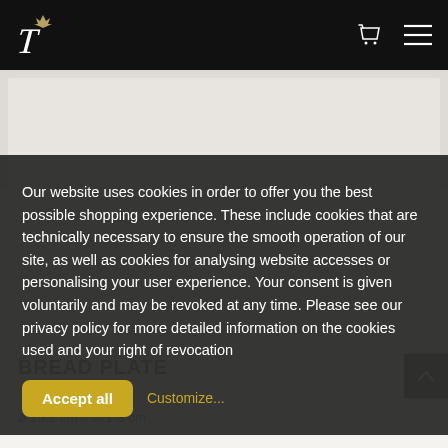Navigation bar with logo, cart icon, and menu icon
[Figure (photo): Product image area — light gray background, partially visible bread plate photo]
Our website uses cookies in order to offer you the best possible shopping experience. These include cookies that are technically necessary to ensure the smooth operation of our site, as well as cookies for analysing website accesses or personalising your user experience. Your consent is given voluntarily and may be revoked at any time. Please see our privacy policy for more detailed information on the cookies used and your right of revocation
Accept all   Customize...
BREAD PLATE
107,00 € *
⌀ 15.2 cm   ↗ 1.8 cm